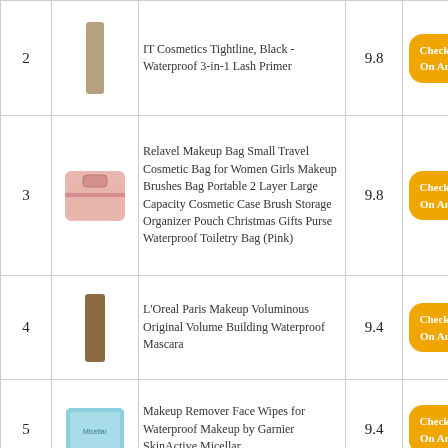| # | Image | Product | Score | Link |
| --- | --- | --- | --- | --- |
| 2 | [image] | IT Cosmetics Tightline, Black - Waterproof 3-in-1 Lash Primer | 9.8 | Check Price On Amazon |
| 3 | [image] | Relavel Makeup Bag Small Travel Cosmetic Bag for Women Girls Makeup Brushes Bag Portable 2 Layer Large Capacity Cosmetic Case Brush Storage Organizer Pouch Christmas Gifts Purse Waterproof Toiletry Bag (Pink) | 9.8 | Check Price On Amazon |
| 4 | [image] | L'Oreal Paris Makeup Voluminous Original Volume Building Waterproof Mascara | 9.4 | Check Price On Amazon |
| 5 | [image] | Makeup Remover Face Wipes for Waterproof Makeup by Garnier SkinActive Micellar | 9.4 | Check Price On Amazon |